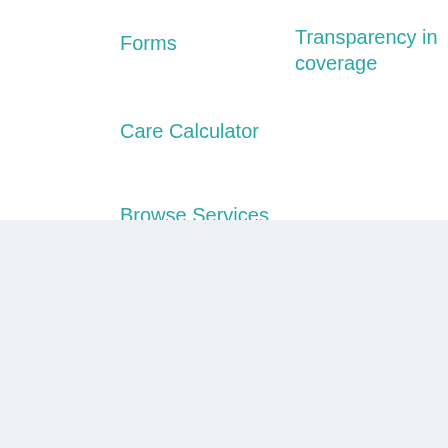Forms
Transparency in coverage
Care Calculator
Browse Services
* Savings estimate based on a study of more than 1 billion claims comparing self-pay (or cash pay) prices of a frequency-weighted market basket of procedures to insurer-negotiated rates for the same. Claims were collected between July 2017 and July 2019. R.Lawrence Van Horn, Arthur Laffer, Robert L.Metcalf. 2019. The Transformative Potential for Price Transparency in Healthcare Benefits for Consumers and Provider Health